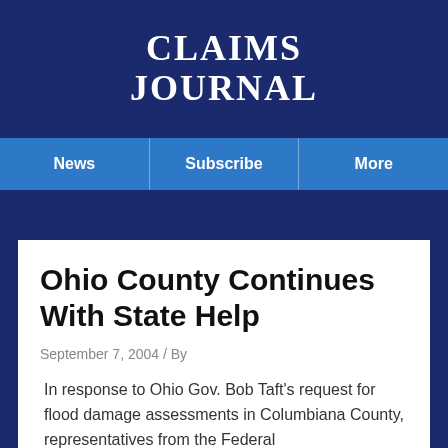CLAIMS JOURNAL
News | Subscribe | More
Ohio County Continues With State Help
September 7, 2004 / By
In response to Ohio Gov. Bob Taft's request for flood damage assessments in Columbiana County, representatives from the Federal